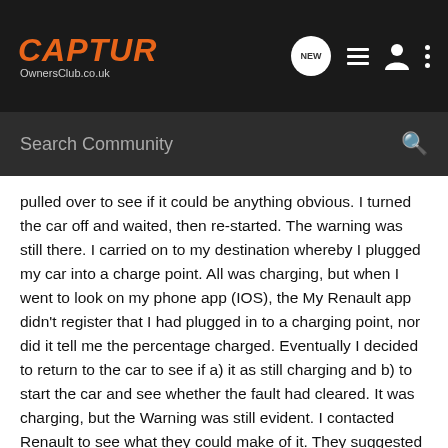CAPTUR OwnersClub.co.uk
Search Community
pulled over to see if it could be anything obvious. I turned the car off and waited, then re-started. The warning was still there. I carried on to my destination whereby I plugged my car into a charge point. All was charging, but when I went to look on my phone app (IOS), the My Renault app didn't register that I had plugged in to a charging point, nor did it tell me the percentage charged. Eventually I decided to return to the car to see if a) it as still charging and b) to start the car and see whether the fault had cleared. It was charging, but the Warning was still evident. I contacted Renault to see what they could make of it. They suggested I book in with service for them to investigate. The car is just 4 weeks old. They said the investigation would be done under warranty. However, if the fault wasn't covered under the warranty, I would have to pay £100 for a diagnostic fee. (good luck with that I thought). After stopping at a local Tesco, I